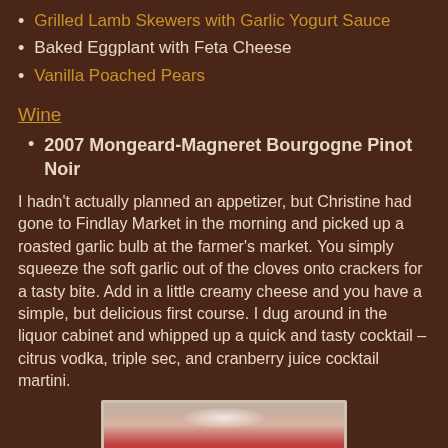Grilled Lamb Skewers with Garlic Yogurt Sauce
Baked Eggplant with Feta Cheese
Vanilla Poached Pears
Wine
2007 Mongeard-Magneret Bourgogne Pinot Noir
I hadn't actually planned an appetizer, but Christine had gone to Findlay Market in the morning and picked up a roasted garlic bulb at the farmer's market. You simply squeeze the soft garlic out of the cloves onto crackers for a tasty bite. Add in a little creamy cheese and you have a simple, but delicious first course. I dug around in the liquor cabinet and whipped up a quick and tasty cocktail – citrus vodka, triple sec, and cranberry juice cocktail martini.
[Figure (photo): A cocktail martini glass with a reddish-pink drink, viewed from above, showing the rim of the glass and a red liquid inside, photographed on a brown surface.]